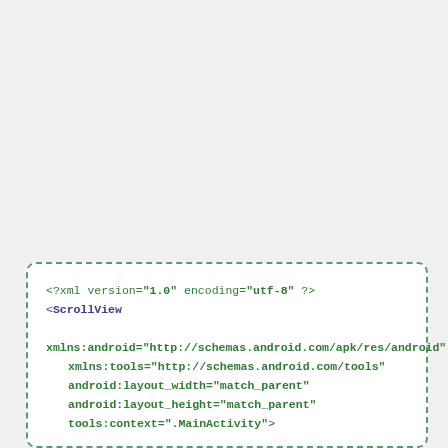[Figure (screenshot): Code snippet box with dashed green border showing XML/Android layout code: <?xml version='1.0' encoding='utf-8' ?> <ScrollView with xmlns:android, xmlns:tools, android:layout_width='match_parent', android:layout_height='match_parent', tools:context='.MainActivity'> and beginning of <LinearLayout]